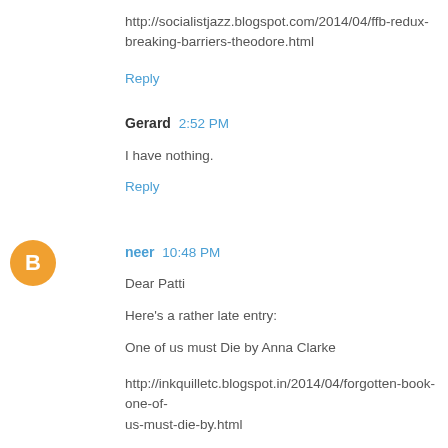http://socialistjazz.blogspot.com/2014/04/ffb-redux-breaking-barriers-theodore.html
Reply
Gerard  2:52 PM
I have nothing.
Reply
[Figure (illustration): Orange circular blogger avatar icon with white letter B]
neer  10:48 PM
Dear Patti
Here's a rather late entry:
One of us must Die by Anna Clarke
http://inkquilletc.blogspot.in/2014/04/forgotten-book-one-of-us-must-die-by.html